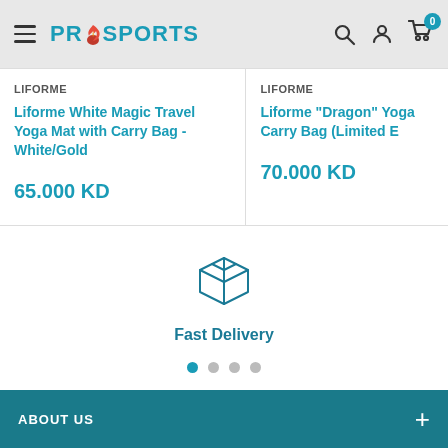ProSports
LIFORME
Liforme White Magic Travel Yoga Mat with Carry Bag - White/Gold
65.000 KD
LIFORME
Liforme "Dragon" Yoga ... Carry Bag (Limited E...
70.000 KD
[Figure (illustration): Box/package delivery icon in teal outline style]
Fast Delivery
ABOUT US